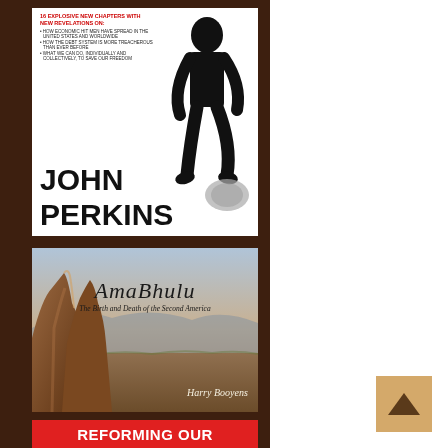[Figure (illustration): Book cover for John Perkins - white background with silhouette of walking figure and text about explosive new chapters. Author name 'JOHN PERKINS' in large bold black text at bottom left.]
[Figure (illustration): Book cover for 'AmaBhulu: The Birth and Death of the Second America' by Harry Booyens. Features a dramatic landscape photo of rocky cliffs with desert valley below under a hazy sky.]
[Figure (illustration): Partial red banner at the bottom with white bold uppercase text reading 'REFORMING OUR']
[Figure (illustration): Scroll-to-top button: tan/gold square with upward-pointing dark brown arrow chevron icon, positioned at bottom right.]